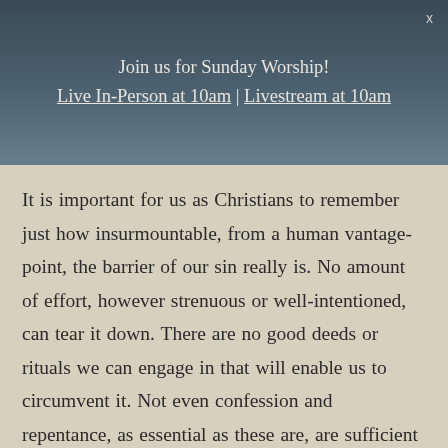Join us for Sunday Worship!
Live In-Person at 10am | Livestream at 10am
It is important for us as Christians to remember just how insurmountable, from a human vantage-point, the barrier of our sin really is. No amount of effort, however strenuous or well-intentioned, can tear it down. There are no good deeds or rituals we can engage in that will enable us to circumvent it. Not even confession and repentance, as essential as these are, are sufficient in and of themselves to overcome this impediment. (It is one thing to recognize an obstacle and even regret its existence; it is another thing entirely to possess the ability to remove it.) In short, nothing in our own power can transform us from outsiders to insiders, from objects of judgment to